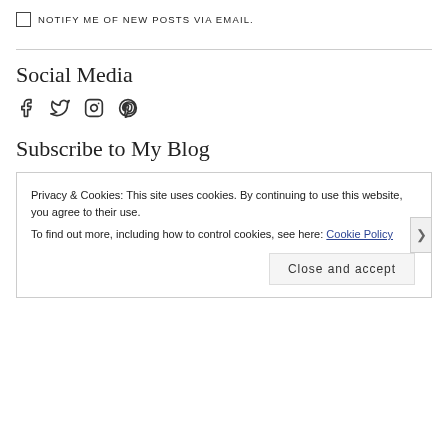NOTIFY ME OF NEW POSTS VIA EMAIL.
Social Media
[Figure (other): Social media icons: Facebook, Twitter, Instagram, Pinterest]
Subscribe to My Blog
Privacy & Cookies: This site uses cookies. By continuing to use this website, you agree to their use.
To find out more, including how to control cookies, see here: Cookie Policy
Close and accept